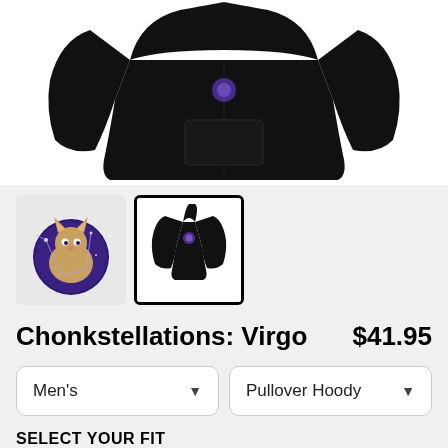[Figure (photo): Black pullover hoodie product photo on white background, showing front and back views]
[Figure (photo): Thumbnail 1: Virgo constellation cat illustration with purple/blue cosmic design]
[Figure (photo): Thumbnail 2 (selected): Black pullover hoodie with small chest graphic, selected view]
Chonkstellations: Virgo
$41.95
Men's
Pullover Hoody
SELECT YOUR FIT
$41.95
French Terry
$46.45
Classic Fleece